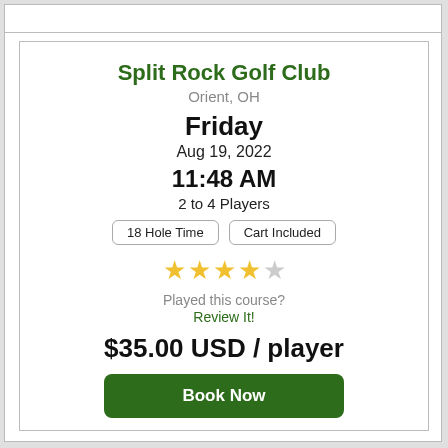Split Rock Golf Club
Orient, OH
Friday
Aug 19, 2022
11:48 AM
2 to 4 Players
18 Hole Time
Cart Included
[Figure (other): 4 filled gold stars and 1 empty star rating]
Played this course?
Review It!
$35.00 USD / player
Book Now